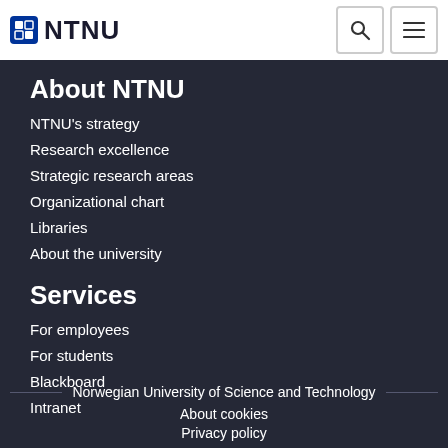NTNU
About NTNU
NTNU's strategy
Research excellence
Strategic research areas
Organizational chart
Libraries
About the university
Services
For employees
For students
Blackboard
Intranet
Norwegian University of Science and Technology
About cookies
Privacy policy